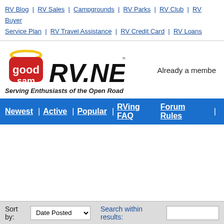RV Blog | RV Sales | Campgrounds | RV Parks | RV Club | RV Buyer Service Plan | RV Travel Assistance | RV Credit Card | RV Loans
[Figure (logo): Good Sam RV.NET logo with tagline 'Serving Enthusiasts of the Open Road']
Already a member
Newest | Active | Popular | RVing FAQ | Forum Rules
> Your search for posts made by 'corvettekent' found 52 matches.
Sort by: Date Posted  Search within results: